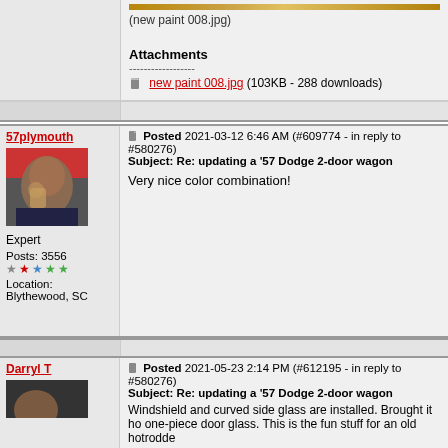(new paint 008.jpg)
Attachments
------------------
new paint 008.jpg (103KB - 288 downloads)
57plymouth
Posted 2021-03-12 6:46 AM (#609774 - in reply to #580276)
Subject: Re: updating a '57 Dodge 2-door wagon
[Figure (photo): Avatar photo of forum user 57plymouth drinking from a glass]
Expert
Posts: 3556
Location: Blythewood, SC
Very nice color combination!
Darryl T
Posted 2021-05-23 2:14 PM (#612195 - in reply to #580276)
Subject: Re: updating a '57 Dodge 2-door wagon
Windshield and curved side glass are installed. Brought it ho one-piece door glass. This is the fun stuff for an old hotrodde